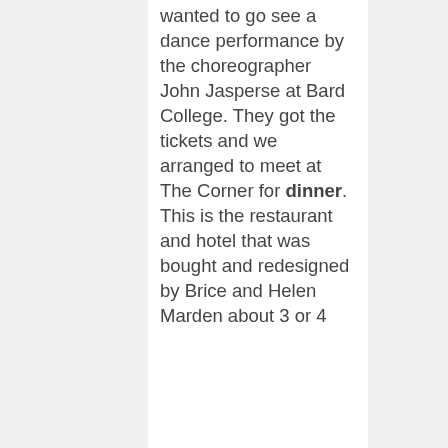wanted to go see a dance performance by the choreographer John Jasperse at Bard College. They got the tickets and we arranged to meet at The Corner for dinner. This is the restaurant and hotel that was bought and redesigned by Brice and Helen Marden about 3 or 4